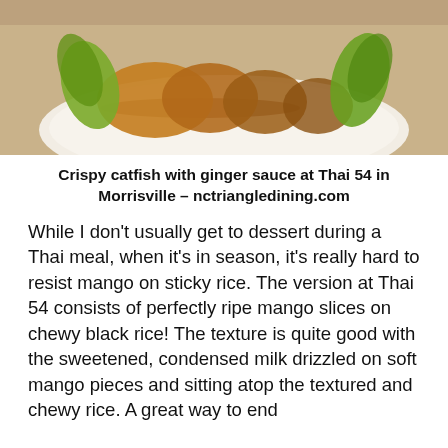[Figure (photo): Photo of crispy catfish with ginger sauce on a white plate with green lettuce, served at Thai 54 in Morrisville]
Crispy catfish with ginger sauce at Thai 54 in Morrisville – nctriangledining.com
While I don't usually get to dessert during a Thai meal, when it's in season, it's really hard to resist mango on sticky rice. The version at Thai 54 consists of perfectly ripe mango slices on chewy black rice! The texture is quite good with the sweetened, condensed milk drizzled on soft mango pieces and sitting atop the textured and chewy rice. A great way to end